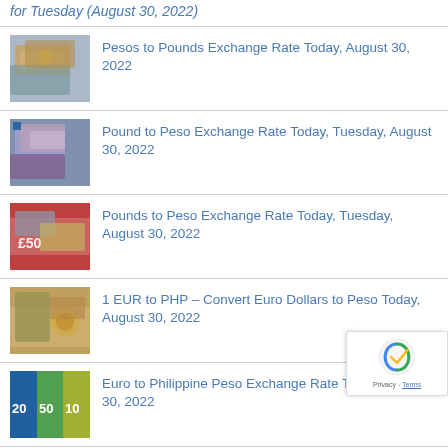for Tuesday (August 30, 2022)
Pesos to Pounds Exchange Rate Today, August 30, 2022
Pound to Peso Exchange Rate Today, Tuesday, August 30, 2022
Pounds to Peso Exchange Rate Today, Tuesday, August 30, 2022
1 EUR to PHP – Convert Euro Dollars to Peso Today, August 30, 2022
Euro to Philippine Peso Exchange Rate Today, August 30, 2022
EUR to PHP Exchange Rate Today, Tuesday, August 30, 2022